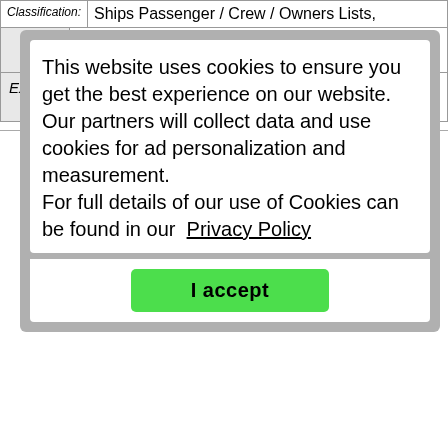Classification:  Ships Passenger / Crew / Owners Lists,
ther
Extra Info.   watermills look for the link part way down the home page.
This website uses cookies to ensure you get the best experience on our website. Our partners will collect data and use cookies for ad personalization and measurement. For full details of our use of Cookies can be found in our  Privacy Policy
I accept
If you know of any web sites suitable for inclusion which are not listed here,
please let us know via the Contact Us page.
Search the major commercial genealogy companies' websites: